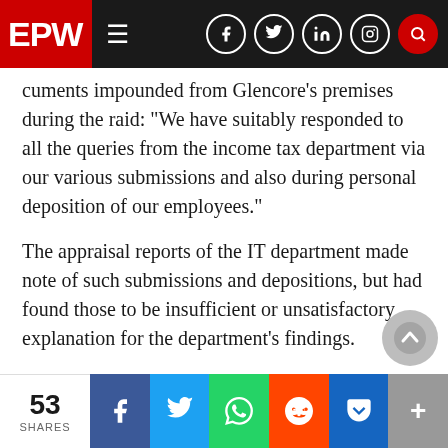EPW [navigation bar with social icons]
cuments impounded from Glencore's premises during the raid: “We have suitably responded to all the queries from the income tax department via our various submissions and also during personal deposition of our employees.”
The appraisal reports of the IT department made note of such submissions and depositions, but had found those to be insufficient or unsatisfactory explanation for the department’s findings.
ETG: Through Tax Havens
The operations of ETG and its financial details that were ferreted out by the IT department officia…
53 SHARES | Facebook | Twitter | WhatsApp | Reddit | Pocket | More